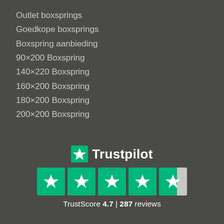Outlet boxsprings
Goedkope boxsprings
Boxspring aanbieding
90×200 Boxspring
140×220 Boxspring
160×200 Boxspring
180×200 Boxspring
200×200 Boxspring
[Figure (logo): Trustpilot logo with green star icon and rating of 4.7 out of 5 based on 287 reviews, showing 4 full green star boxes and 1 partially filled star box]
TrustScore 4.7 | 287 reviews